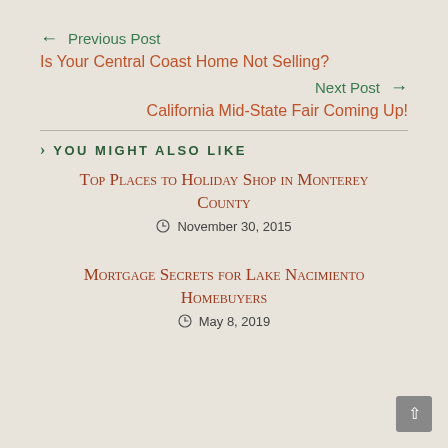← Previous Post
Is Your Central Coast Home Not Selling?
Next Post →
California Mid-State Fair Coming Up!
YOU MIGHT ALSO LIKE
Top Places to Holiday Shop in Monterey County
November 30, 2015
Mortgage Secrets for Lake Nacimiento Homebuyers
May 8, 2019